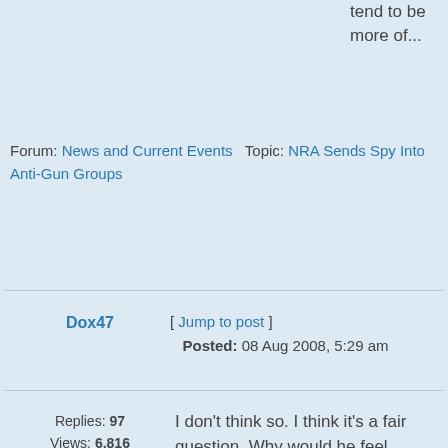tend to be more of...
Forum: News and Current Events   Topic: NRA Sends Spy Into Anti-Gun Groups
Dox47
[ Jump to post ]  Posted: 08 Aug 2008, 5:29 am
Replies: 97  Views: 6,816
I don't think so. I think it's a fair question. Why would he feel remorse? He did what he had to to get himself out of a bad situation. Someone invaded his home, and placed his life in danger. Doesn't sound like Subalternnavert had a whole lot of choice, get stabbed or pull the trigger. I'm sure he...